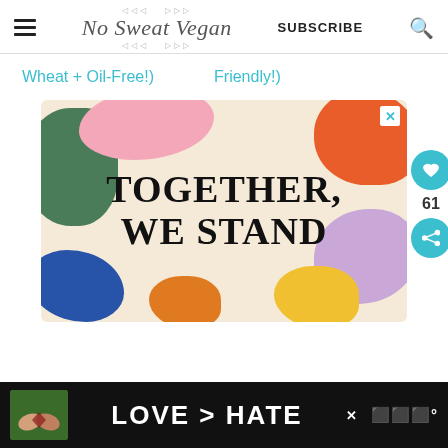No Sweat Vegan | SUBSCRIBE
Wheat + Oil-Free!)    Friendly!)
[Figure (infographic): Advertisement banner with colorful blobs (green, pink, orange, purple, blue, yellow) on a cream background. Large bold text reads 'TOGETHER, WE STAND'. Close X button in top right corner.]
[Figure (infographic): Bottom advertisement bar with dark background showing hands forming a heart shape and text 'LOVE > HATE' in large white letters. Close X button and logo visible.]